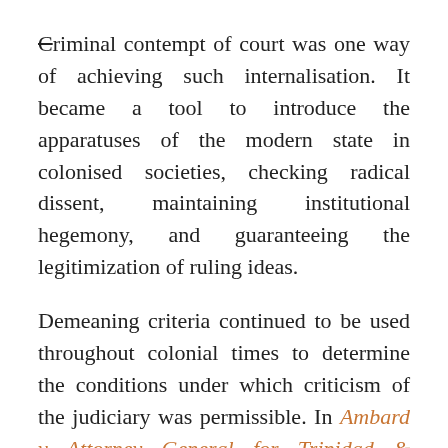Criminal contempt of court was one way of achieving such internalisation. It became a tool to introduce the apparatuses of the modern state in colonised societies, checking radical dissent, maintaining institutional hegemony, and guaranteeing the legitimization of ruling ideas.
Demeaning criteria continued to be used throughout colonial times to determine the conditions under which criticism of the judiciary was permissible. In Ambard v Attorney General for Trinidad & Tobago, it was noted that in deciding the cases relating to scandalizing the court ‘local conditions’ must not be lost sight of. Application of cultural relativism in the colonies to exclude